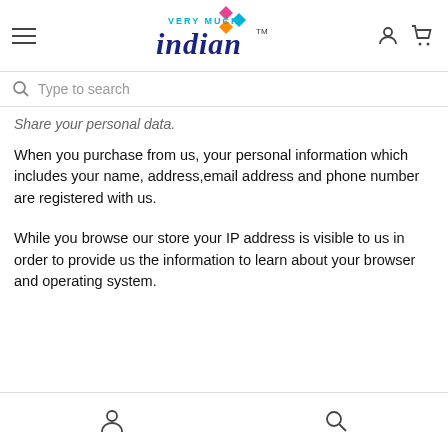[Figure (logo): Very Much Indian logo with colorful diamond shapes and TM mark]
Type to search
Share your personal data.
When you purchase from us, your personal information which includes your name, address,email address and phone number are registered with us.
While you browse our store your IP address is visible to us in order to provide us the information to learn about your browser and operating system.
[Figure (illustration): Bottom navigation bar with user icon and search icon]